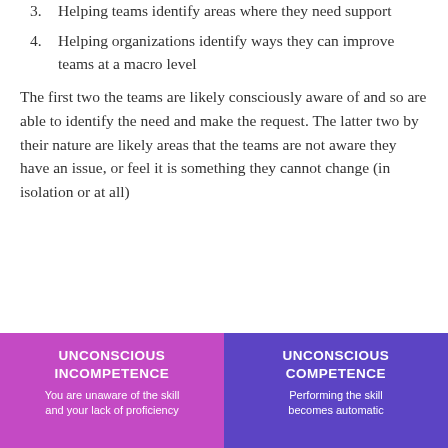3. Helping teams identify areas where they need support
4. Helping organizations identify ways they can improve teams at a macro level
The first two the teams are likely consciously aware of and so are able to identify the need and make the request. The latter two by their nature are likely areas that the teams are not aware they have an issue, or feel it is something they cannot change (in isolation or at all)
[Figure (infographic): Two colored boxes side by side. Left box (purple/pink): 'UNCONSCIOUS INCOMPETENCE - You are unaware of the skill and your lack of proficiency'. Right box (purple/blue): 'UNCONSCIOUS COMPETENCE - Performing the skill becomes automatic'.]